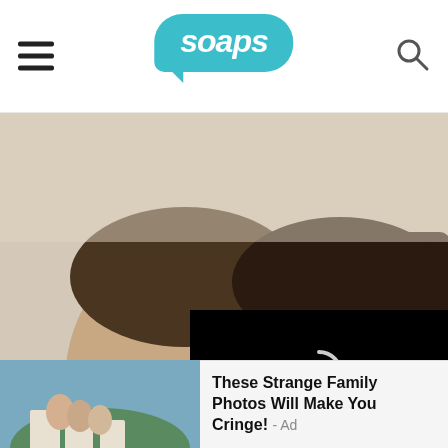soaps
[Figure (photo): A man and woman couple posing together for a close-up photo, smiling. The man is on the left wearing a white shirt, and the woman on the right has dark long hair and blue eyes.]
[Figure (screenshot): Video player overlay with loading spinner, progress bar, and controls showing timestamp 01:32]
View more on Instagr...
4,840 likes
rena sofer
[Figure (photo): Advertisement thumbnail showing a family photo in an outdoor setting]
These Strange Family Photos Will Make You Cringe! - Ad